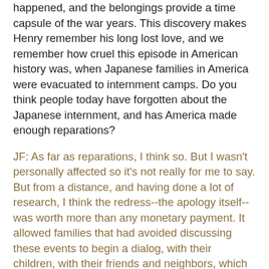happened, and the belongings provide a time capsule of the war years. This discovery makes Henry remember his long lost love, and we remember how cruel this episode in American history was, when Japanese families in America were evacuated to internment camps. Do you think people today have forgotten about the Japanese internment, and has America made enough reparations?
JF: As far as reparations, I think so. But I wasn't personally affected so it's not really for me to say. But from a distance, and having done a lot of research, I think the redress--the apology itself--was worth more than any monetary payment. It allowed families that had avoided discussing these events to begin a dialog, with their children, with their friends and neighbors, which allowed for healing and closure.
But the other question, do I think people have forgotten? Sadly, yes. I've had scores of readers write in telling me that they never really knew much about the internment. I've had reviewers doubt the veracity of the internment experience as depicted. I even checked my daughter's 8th grade history book--which has two short paragraphs about the internment,